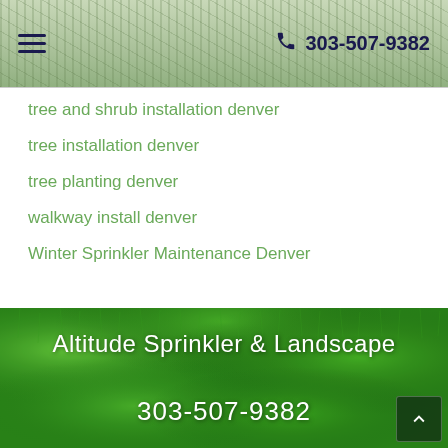≡   303-507-9382
tree and shrub installation denver
tree installation denver
tree planting denver
walkway install denver
Winter Sprinkler Maintenance Denver
[Figure (photo): Green grass lawn close-up photo used as background for footer section with company name and phone number]
Altitude Sprinkler & Landscape
303-507-9382